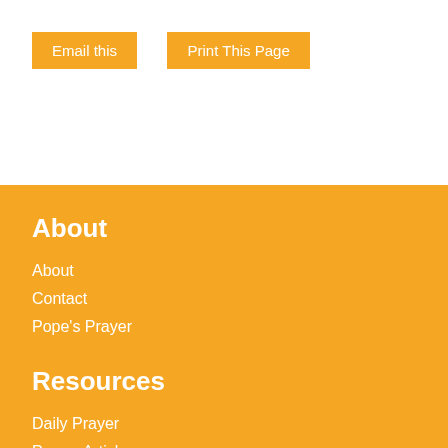Email this
Print This Page
About
About
Contact
Pope's Prayer
Resources
Daily Prayer
Prayer Articles
Subscribe